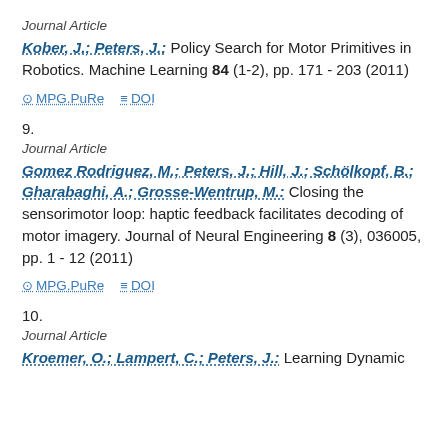Journal Article
Kober, J.; Peters, J.: Policy Search for Motor Primitives in Robotics. Machine Learning 84 (1-2), pp. 171 - 203 (2011)
MPG.PuRe   DOI
9.
Journal Article
Gomez Rodriguez, M.; Peters, J.; Hill, J.; Schölkopf, B.; Gharabaghi, A.; Grosse-Wentrup, M.: Closing the sensorimotor loop: haptic feedback facilitates decoding of motor imagery. Journal of Neural Engineering 8 (3), 036005, pp. 1 - 12 (2011)
MPG.PuRe   DOI
10.
Journal Article
Kroemer, O.; Lampert, C.; Peters, J.: Learning Dynamic